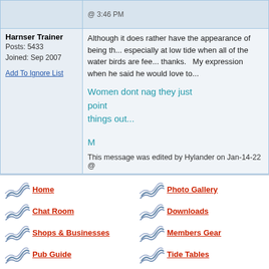@ 3:46 PM
Harnser Trainer
Posts: 5433
Joined: Sep 2007
Add To Ignore List
Although it does rather have the appearance of being th... especially at low tide when all of the water birds are fee... thanks.    My expression when he said he would love to...
Women dont nag they just point things out...
M
This message was edited by Hylander on Jan-14-22 @
Home
Photo Gallery
Chat Room
Downloads
Shops & Businesses
Members Gear
Pub Guide
Tide Tables
2017 Calendar Contest
Make A Donation
Norfolk Broads @ CafePress
FAQ
Advertise With Us
Forum Shop
Copyright © 2005 Y2KInternet,